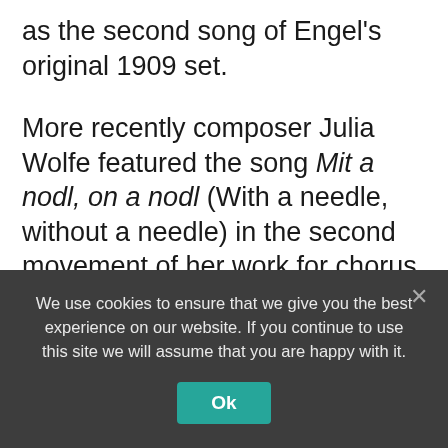as the second song of Engel's original 1909 set.
More recently composer Julia Wolfe featured the song Mit a nodl, on a nodl (With a needle, without a needle) in the second movement of her work for chorus and orchestra fire in my mouth, which depicts the activity of the doomed Triangle Shirtwaist Factory. The melody is sung by a women's chorus, nearly half-way into the movement, over churning strings, pulsating winds, and rattling percussion which depicts the busy
We use cookies to ensure that we give you the best experience on our website. If you continue to use this site we will assume that you are happy with it.